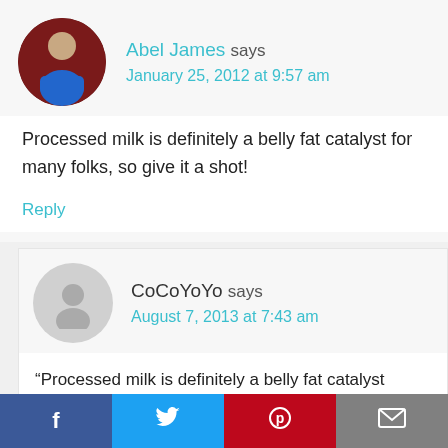Abel James says
January 25, 2012 at 9:57 am
Processed milk is definitely a belly fat catalyst for many folks, so give it a shot!
Reply
CoCoYoYo says
August 7, 2013 at 7:43 am
“Processed milk is definitely a belly fat catalyst
[Figure (other): Social share bar with Facebook, Twitter, Pinterest, and Email buttons]